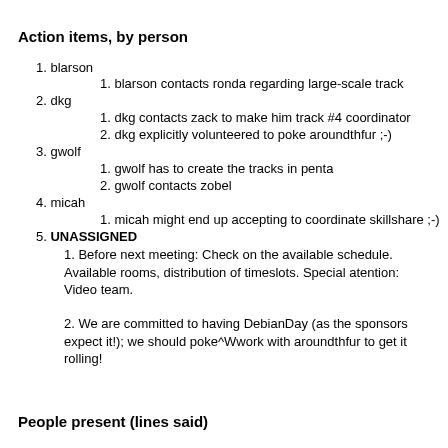Action items, by person
1. blarson
1. blarson contacts ronda regarding large-scale track
2. dkg
1. dkg contacts zack to make him track #4 coordinator
2. dkg explicitly volunteered to poke aroundthfur ;-)
3. gwolf
1. gwolf has to create the tracks in penta
2. gwolf contacts zobel
4. micah
1. micah might end up accepting to coordinate skillshare ;-)
5. UNASSIGNED
1. Before next meeting: Check on the available schedule. Available rooms, distribution of timeslots. Special atention: Video team.
2. We are committed to having DebianDay (as the sponsors expect it!); we should poke^Wwork with aroundthfur to get it rolling!
People present (lines said)